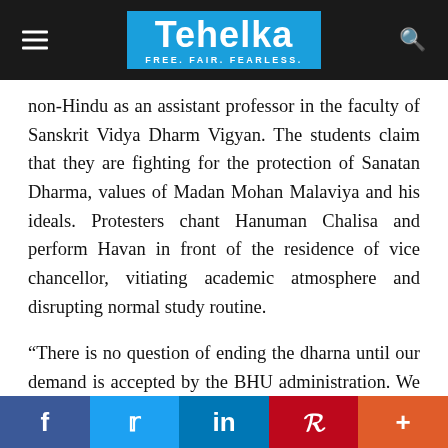Tehelka — FREE. FAIR. FEARLESS.
non-Hindu as an assistant professor in the faculty of Sanskrit Vidya Dharm Vigyan. The students claim that they are fighting for the protection of Sanatan Dharma, values of Madan Mohan Malaviya and his ideals. Protesters chant Hanuman Chalisa and perform Havan in front of the residence of vice chancellor, vitiating academic atmosphere and disrupting normal study routine.
“There is no question of ending the dharna until our demand is accepted by the BHU administration. We only want Dr Firoze to be shifted to some other faculty,” said Shubham Tiwari, a research scholar at the faculty of SVDV who is taking part in the protest.
Facebook Twitter LinkedIn Pinterest Plus